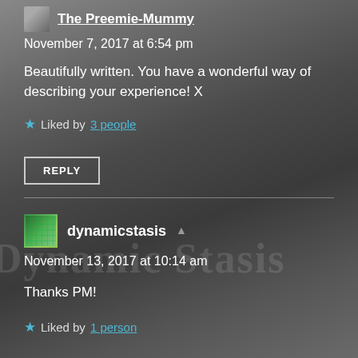The Preemie-Mummy
November 7, 2017 at 6:54 pm
Beautifully written. You have a wonderful way of describing your experience! X
★ Liked by 3 people
REPLY
dynamicstasis
November 13, 2017 at 10:14 am
Thanks PM!
★ Liked by 1 person
REPLY